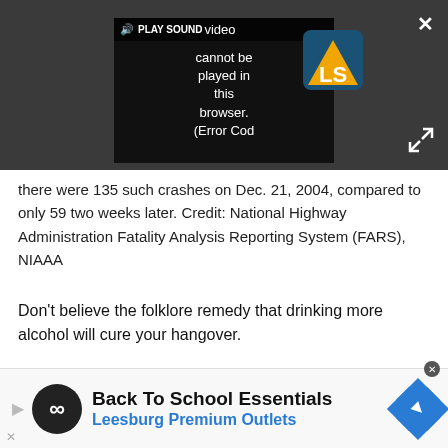[Figure (screenshot): Video player overlay on dark gray background showing 'PLAY SOUND' button and error message 'video cannot be played in this browser. (Error Cod' with an LS logo visible. A close X button top-right and expand arrows bottom-right.]
there were 135 such crashes on Dec. 21, 2004, compared to only 59 two weeks later. Credit: National Highway Administration Fatality Analysis Reporting System (FARS), NIAAA
Don't believe the folklore remedy that drinking more alcohol will cure your hangover.
More alcoholic drinks will only boost the existing toxicity of the alcohol already in one's body, and may
[Figure (screenshot): Advertisement banner: Back To School Essentials - Leesburg Premium Outlets, with infinity logo circle and blue navigation icon.]